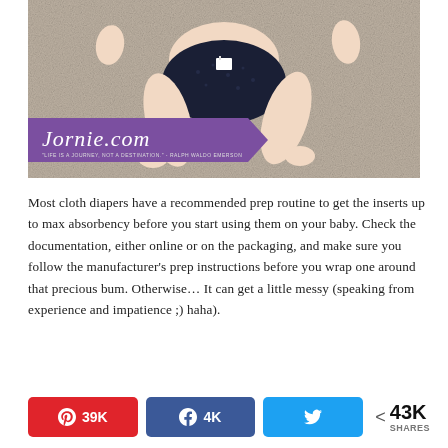[Figure (photo): Top-down photo of a baby lying on a beige/grey carpet wearing a dark navy cloth diaper with a white tag visible. The baby's legs and lower torso are visible. A purple ribbon banner with 'Jornie.com' in white cursive script overlays the lower-left of the image.]
Most cloth diapers have a recommended prep routine to get the inserts up to max absorbency before you start using them on your baby. Check the documentation, either online or on the packaging, and make sure you follow the manufacturer's prep instructions before you wrap one around that precious bum. Otherwise… It can get a little messy (speaking from experience and impatience ;) haha).